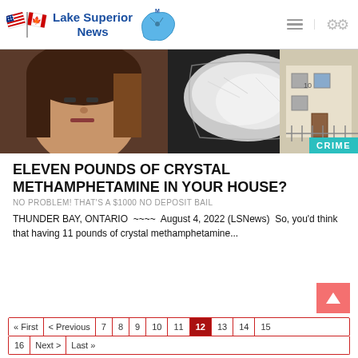Lake Superior News
[Figure (photo): Crime news hero image showing a woman's face on the left, bags of crystal methamphetamine in the center, and a house exterior on the right. A teal 'CRIME' badge is in the bottom right corner.]
ELEVEN POUNDS OF CRYSTAL METHAMPHETAMINE IN YOUR HOUSE?
NO PROBLEM! THAT'S A $1000 NO DEPOSIT BAIL
THUNDER BAY, ONTARIO  ~~~~  August 4, 2022 (LSNews)  So, you'd think that having 11 pounds of crystal methamphetamine...
« First  < Previous  7  8  9  10  11  12  13  14  15  16  Next >  Last »